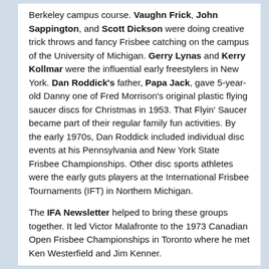Berkeley campus course. Vaughn Frick, John Sappington, and Scott Dickson were doing creative trick throws and fancy Frisbee catching on the campus of the University of Michigan. Gerry Lynas and Kerry Kollmar were the influential early freestylers in New York. Dan Roddick's father, Papa Jack, gave 5-year-old Danny one of Fred Morrison's original plastic flying saucer discs for Christmas in 1953. That Flyin' Saucer became part of their regular family fun activities. By the early 1970s, Dan Roddick included individual disc events at his Pennsylvania and New York State Frisbee Championships. Other disc sports athletes were the early guts players at the International Frisbee Tournaments (IFT) in Northern Michigan.
The IFA Newsletter helped to bring these groups together. It led Victor Malafronte to the 1973 Canadian Open Frisbee Championships in Toronto where he met Ken Westerfield and Jim Kenner.